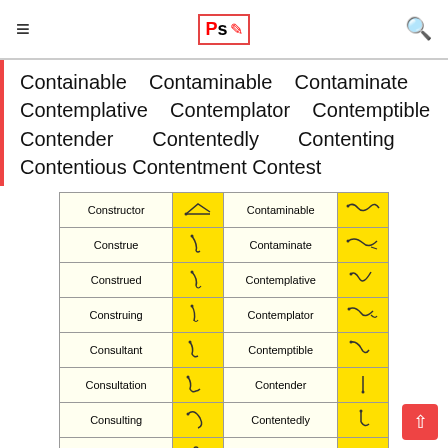≡  Ps [logo]  🔍
Containable Contaminable Contaminate Contemplative Contemplator Contemptible Contender Contentedly Contenting Contentious Contentment Contest
| Word | Symbol | Word | Symbol |
| --- | --- | --- | --- |
| Constructor | [symbol] | Contaminable | [symbol] |
| Construe | [symbol] | Contaminate | [symbol] |
| Construed | [symbol] | Contemplative | [symbol] |
| Construing | [symbol] | Contemplator | [symbol] |
| Consultant | [symbol] | Contemptible | [symbol] |
| Consultation | [symbol] | Contender | [symbol] |
| Consulting | [symbol] | Contentedly | [symbol] |
| Consummate | [symbol] | Contenting | [symbol] |
| Consumptive | [symbol] | Contentious | [symbol] |